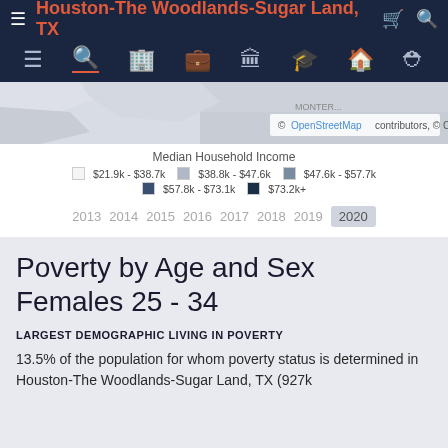Houston-The Woodlands-Sugar Land, TX
[Figure (map): Map showing Median Household Income for Houston-The Woodlands-Sugar Land, TX area with OpenStreetMap attribution]
Median Household Income
$21.9k - $38.7k   $38.8k - $47.6k   $47.6k - $57.7k   $57.8k - $73.1k   $73.2k+
2013  2014  2015  2016  2017  2018  2019  2020
Poverty by Age and Sex
Females 25 - 34
LARGEST DEMOGRAPHIC LIVING IN POVERTY
13.5% of the population for whom poverty status is determined in Houston-The Woodlands-Sugar Land, TX (927k